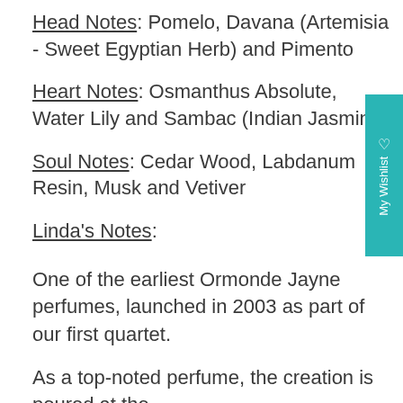Head Notes: Pomelo, Davana (Artemisia - Sweet Egyptian Herb) and Pimento
Heart Notes: Osmanthus Absolute, Water Lily and Sambac (Indian Jasmine)
Soul Notes: Cedar Wood, Labdanum Resin, Musk and Vetiver
Linda's Notes:
One of the earliest Ormonde Jayne perfumes, launched in 2003 as part of our first quartet.
As a top-noted perfume, the creation is poured at the